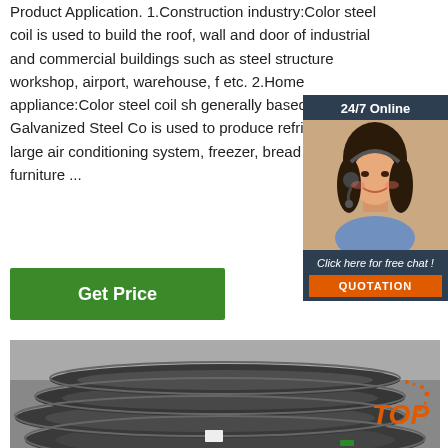Product Application. 1.Construction industry:Color steel coil is used to build the roof, wall and door of industrial and commercial buildings such as steel structure workshop, airport, warehouse, f etc. 2.Home appliance:Color steel coil sh generally based on Galvanized Steel Co is used to produce refrigerator, large air conditioning system, freezer, bread mak furniture ...
[Figure (other): Green 'Get Price' button]
[Figure (other): 24/7 Online chat widget with customer service representative photo, 'Click here for free chat!' text, and orange QUOTATION button]
[Figure (photo): Stacked coils of steel wire/rod in an industrial warehouse setting]